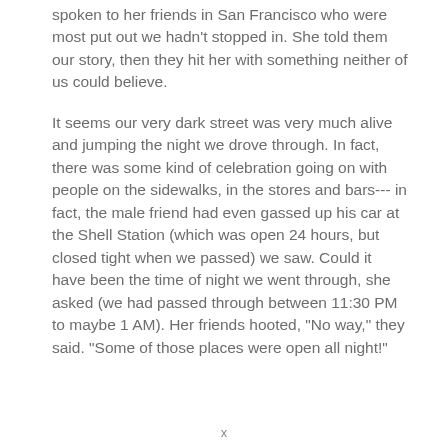spoken to her friends in San Francisco who were most put out we hadn't stopped in. She told them our story, then they hit her with something neither of us could believe.
It seems our very dark street was very much alive and jumping the night we drove through. In fact, there was some kind of celebration going on with people on the sidewalks, in the stores and bars--- in fact, the male friend had even gassed up his car at the Shell Station (which was open 24 hours, but closed tight when we passed) we saw. Could it have been the time of night we went through, she asked (we had passed through between 11:30 PM to maybe 1 AM). Her friends hooted, "No way," they said. "Some of those places were open all night!"
x